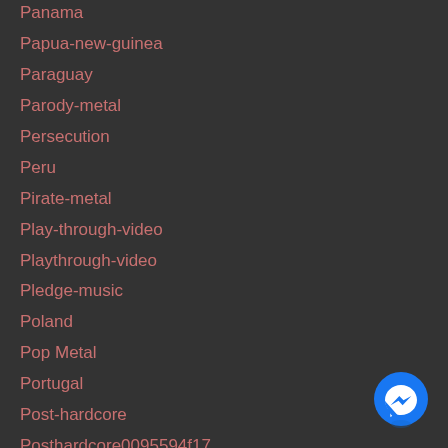Panama
Papua-new-guinea
Paraguay
Parody-metal
Persecution
Peru
Pirate-metal
Play-through-video
Playthrough-video
Pledge-music
Poland
Pop Metal
Portugal
Post-hardcore
Posthardcore0095594f17
Post Metal
Power Metal
Power Metal
Premiere
Preorder
Pre-order
[Figure (illustration): Facebook Messenger blue circular button icon in the bottom-right corner]